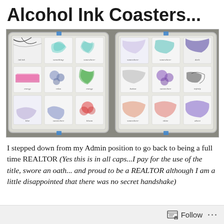Alcohol Ink Coasters...
[Figure (photo): Overhead photo of two metal baking trays side by side, each holding multiple square ceramic coasters with alcohol ink art in various colors including teal, pink, purple, green, gray, and red, with handwritten labels on each coaster.]
I stepped down from my Admin position to go back to being a full time REALTOR (Yes this is in all caps...I pay for the use of the title, swore an oath... and proud to be a REALTOR although I am a little disappointed that there was no secret handshake)
Follow ...